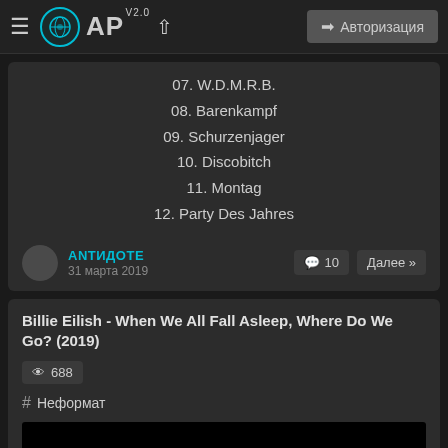≡ AP v2.0 ↑  → Авторизация
07. W.D.M.R.B.
08. Barenkampf
09. Schurzenjager
10. Discobitch
11. Montag
12. Party Des Jahres
ANTИДOTE
31 марта 2019
💬 10  Далее »
Billie Eilish - When We All Fall Asleep, Where Do We Go? (2019)
👁 688
# Неформат
[Figure (photo): Black image placeholder at the bottom of the page]